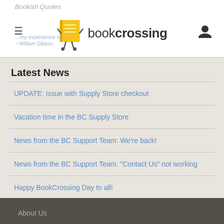bookcrossing
Latest News
UPDATE: Issue with Supply Store checkout
Vacation time in the BC Supply Store
News from the BC Support Team: We're back!
News from the BC Support Team: "Contact Us" not working
Happy BookCrossing Day to all!
see all...
About Us